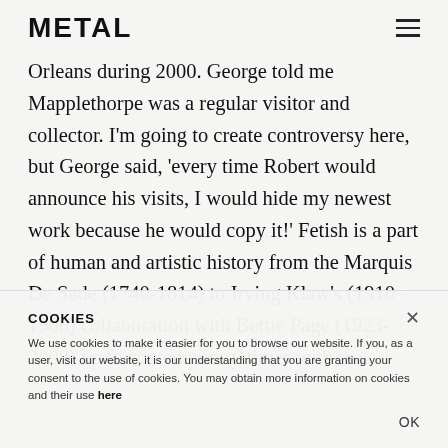METAL
Orleans during 2000. George told me Mapplethorpe was a regular visitor and collector. I'm going to create controversy here, but George said, ‘every time Robert would announce his visits, I would hide my newest work because he would copy it!’ Fetish is a part of human and artistic history from the Marquis De Sade (1740-1814) to Irving Klaw’s (1910-1966) collaboration with Bettie Page (1923-2008) up to contemporary times with that
COOKIES
We use cookies to make it easier for you to browse our website. If you, as a user, visit our website, it is our understanding that you are granting your consent to the use of cookies. You may obtain more information on cookies and their use here
OK